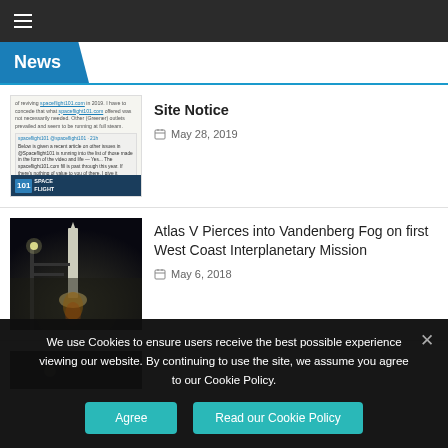≡ (hamburger menu)
News
[Figure (screenshot): Screenshot of a tweet/web page about spaceflight101.com site notice, with a SpaceFlight101 logo at the bottom]
Site Notice
May 28, 2019
[Figure (photo): Night photo of an Atlas V rocket launch piercing through fog at Vandenberg Air Force Base]
Atlas V Pierces into Vandenberg Fog on first West Coast Interplanetary Mission
May 6, 2018
We use Cookies to ensure users receive the best possible experience viewing our website. By continuing to use the site, we assume you agree to our Cookie Policy.
Agree
Read our Cookie Policy